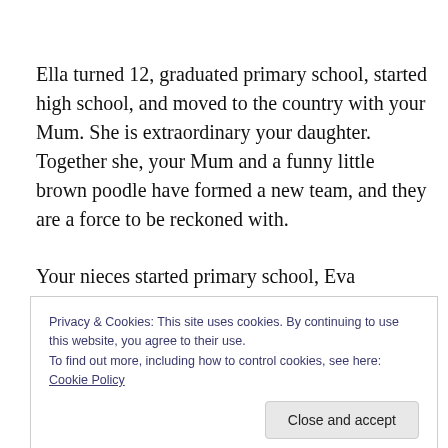Ella turned 12, graduated primary school, started high school, and moved to the country with your Mum. She is extraordinary your daughter. Together she, your Mum and a funny little brown poodle have formed a new team, and they are a force to be reckoned with.
Your nieces started primary school, Eva perfected her hula-hooping, your nephew Hudson was born, and a song was dedicated to you in front of a sell-out crowd at a
Privacy & Cookies: This site uses cookies. By continuing to use this website, you agree to their use.
To find out more, including how to control cookies, see here: Cookie Policy
is, there are these moment that sneak up on you. Like a